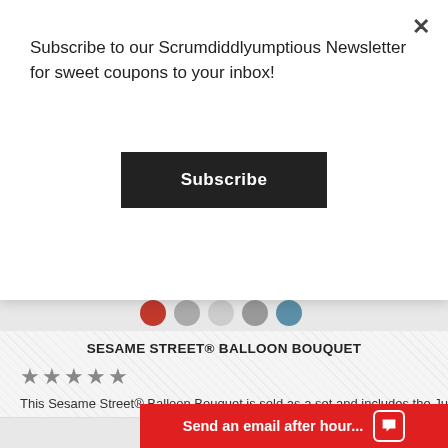Subscribe to our Scrumdiddlyumptious Newsletter for sweet coupons to your inbox!
Subscribe
SESAME STREET® BALLOON BOUQUET
★★★★★
This Sesame Street® Balloon Bouquet is sold as a set and includes the Jumb
$49.95
SELECT OPTIONS
Send an email after hour...